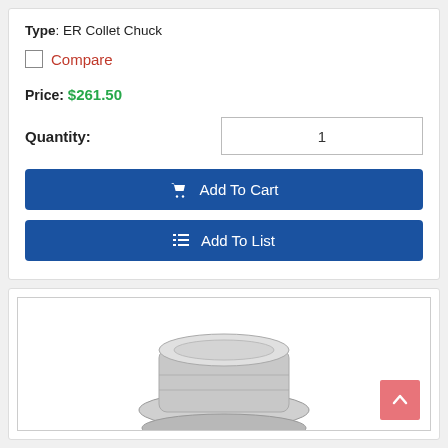Type: ER Collet Chuck
Compare
Price: $261.50
Quantity: 1
Add To Cart
Add To List
[Figure (photo): Photo of an ER Collet Chuck, a metallic silver machined tool component, partially visible at the bottom of the image area.]